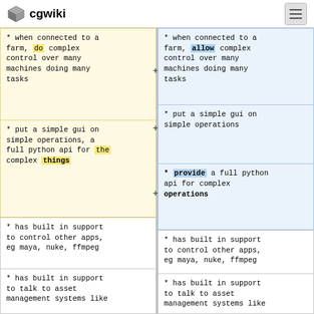cgwiki
* when connected to a farm, do complex control over many machines doing many tasks
* put a simple gui on simple operations, a full python api for the complex things
* when connected to a farm, allow complex control over many machines doing many tasks
* put a simple gui on simple operations
* provide a full python api for complex operations
* has built in support to control other apps, eg maya, nuke, ffmpeg
* has built in support to talk to asset management systems like
* has built in support to control other apps, eg maya, nuke, ffmpeg
* has built in support to talk to asset management systems like